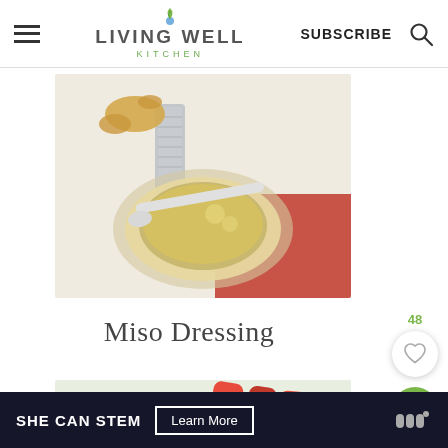Living Well Kitchen — SUBSCRIBE (navigation bar with hamburger menu and search icon)
[Figure (photo): Overhead photo of miso dressing in a glass bowl with a spoon, ginger root and grater nearby on a white background with a red cloth]
Miso Dressing
[Figure (photo): Photo of a dip or spread in a bowl served with red pepper strips, celery, and crackers/flatbread]
SHE CAN STEM  Learn More  (advertisement banner)